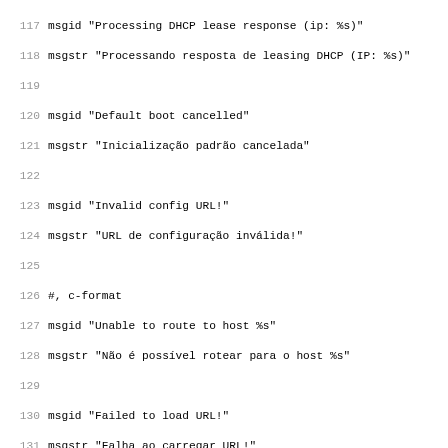117 msgid "Processing DHCP lease response (ip: %s)"
118 msgstr "Processando resposta de leasing DHCP (IP: %s)"
119
120 msgid "Default boot cancelled"
121 msgstr "Inicialização padrão cancelada"
122
123 msgid "Invalid config URL!"
124 msgstr "URL de configuração inválida!"
125
126 #, c-format
127 msgid "Unable to route to host %s"
128 msgstr "Não é possível rotear para o host %s"
129
130 msgid "Failed to load URL!"
131 msgstr "Falha ao carregar URL!"
132
133 #, c-format
134 msgid "Parsed GRUB configuration from %s"
135 msgstr ""
136
137 #, c-format
138 msgid "Parsed kboot configuration from %s"
139 msgstr ""
140
141 msgid "Configuring with DHCP"
142 msgstr ""
143
144 #, c-format
145 msgid "Configuring with static address (ip: %s)"
146 msgstr ""
147
148 #, c-format
149 msgid "Resolving host %s"